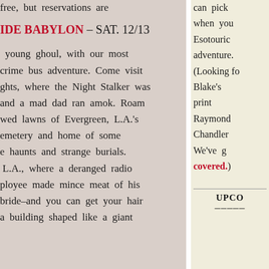free, but reservations are
IDE BABYLON – SAT. 12/13
young ghoul, with our most crime bus adventure. Come visit ghts, where the Night Stalker was and a mad dad ran amok. Roam wed lawns of Evergreen, L.A.'s emetery and home of some e haunts and strange burials. L.A., where a deranged radio ployee made mince meat of his bride–and you can get your hair a building shaped like a giant
can pick when you Esotouric adventure. (Looking fo Blake's print Raymond Chandler We've g covered.)
UPCO